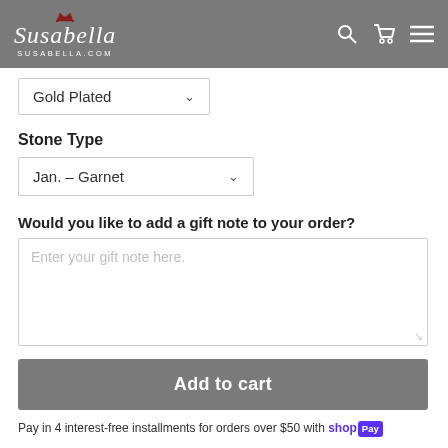[Figure (screenshot): Susabella website header with logo (crown icon, italic script 'Susabella', 'SUSABELLA.COM' subtitle) on gray background, with search, cart, and menu icons on the right]
Gold Plated
Stone Type
Jan. - Garnet
Would you like to add a gift note to your order?
Enter your gift note here.
Add to cart
Pay in 4 interest-free installments for orders over $50 with shop Pay